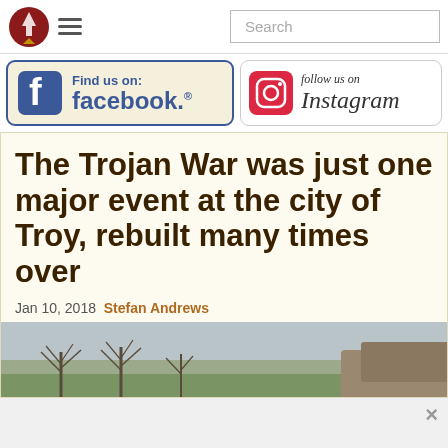Navigation bar with logo, hamburger menu, and search box
[Figure (logo): Find us on Facebook button with Facebook logo and blue border]
[Figure (logo): Follow us on Instagram button with Instagram camera logo]
The Trojan War was just one major event at the city of Troy, rebuilt many times over
Jan 10, 2018  Stefan Andrews
[Figure (photo): Landscape photo showing bare trees and ancient ruins/stone walls under overcast sky]